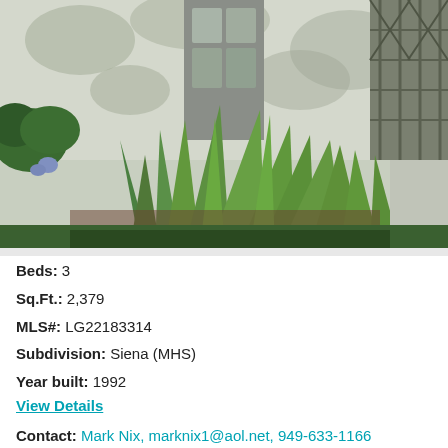[Figure (photo): Outdoor garden photo showing green tropical plants and agave in front of a white/grey stucco building with a decorative iron gate/window and dappled tree shadows]
Beds: 3
Sq.Ft.: 2,379
MLS#: LG22183314
Subdivision: Siena (MHS)
Year built: 1992
View Details
Contact: Mark Nix, marknix1@aol.net, 949-633-1166